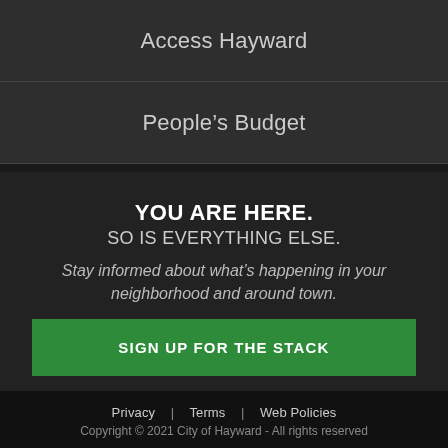Access Hayward
People's Budget
YOU ARE HERE.
SO IS EVERYTHING ELSE.
Stay informed about what's happening in your neighborhood and around town.
SIGN UP FOR THE STACK
Privacy | Terms | Web Policies
Copyright © 2021 City of Hayward - All rights reserved